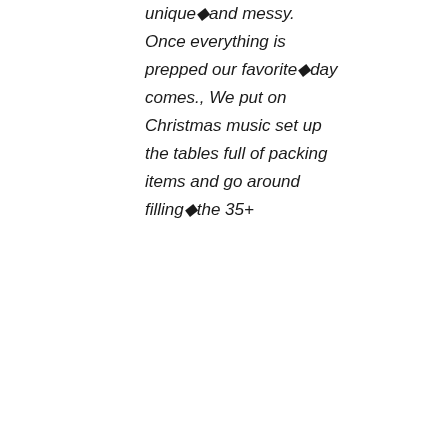unique�and messy. Once everything is prepped our favorite�day comes., We put on Christmas music set up the tables full of packing items and go around filling�the 35+